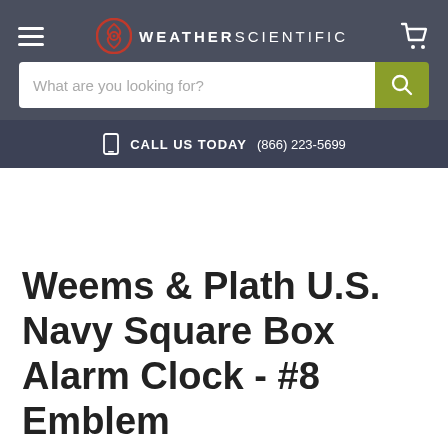WEATHER SCIENTIFIC
What are you looking for?
CALL US TODAY (866) 223-5699
Description
Weems & Plath U.S. Navy Square Box Alarm Clock - #8 Emblem